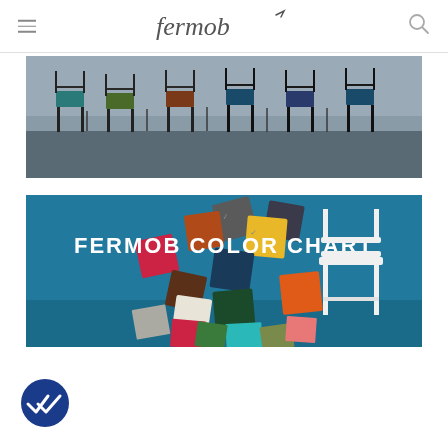Fermob
[Figure (photo): Wide photo of various Fermob metal chairs in multiple colors arranged against a stone wall backdrop in a cafe or indoor setting]
[Figure (photo): Fermob Color Chart promotional image: colorful paint/color swatches scattered on a teal blue background with a white Fermob chair on the right, text reads FERMOB COLOR CHART]
[Figure (other): Dark blue circular badge icon with a double checkmark symbol]